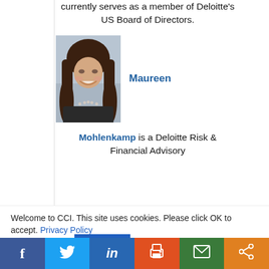currently serves as a member of Deloitte's US Board of Directors.
[Figure (photo): Professional headshot of Maureen Mohlenkamp, a woman with long brown hair, smiling, wearing a dark blazer and pearl necklace against a blue-grey background.]
Maureen
Mohlenkamp is a Deloitte Risk & Financial Advisory
Welcome to CCI. This site uses cookies. Please click OK to accept. Privacy Policy
Cookie settings
ACCEPT